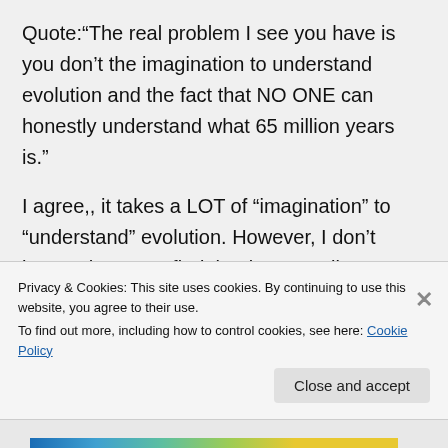Quote:“The real problem I see you have is you don’t the imagination to understand evolution and the fact that NO ONE can honestly understand what 65 million years is.”
I agree,, it takes a LOT of “imagination” to “understand” evolution. However, I don’t know where you find the time to poll every person on the planet, asking them their personal grasp of 65 million years. The
Privacy & Cookies: This site uses cookies. By continuing to use this website, you agree to their use.
To find out more, including how to control cookies, see here: Cookie Policy
Close and accept